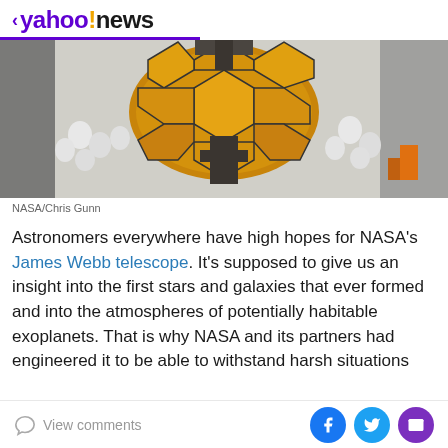< yahoo!news
[Figure (photo): Aerial/overhead view of the James Webb Space Telescope with golden hexagonal mirror segments, surrounded by technicians in white suits in a clean room facility. NASA/Chris Gunn photo.]
NASA/Chris Gunn
Astronomers everywhere have high hopes for NASA's James Webb telescope. It's supposed to give us an insight into the first stars and galaxies that ever formed and into the atmospheres of potentially habitable exoplanets. That is why NASA and its partners had engineered it to be able to withstand harsh situations
View comments